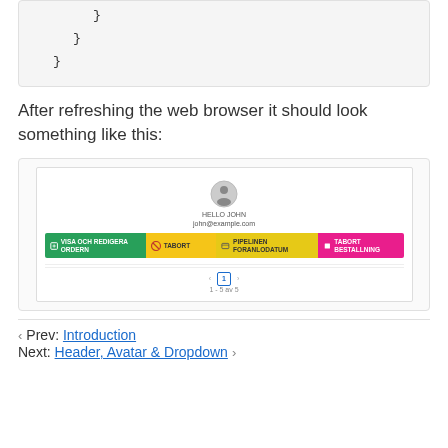}
  }
}
After refreshing the web browser it should look something like this:
[Figure (screenshot): Screenshot of a web application UI showing a user profile section with avatar/icon at top, an email address, and a row of colored action buttons: green 'VISA OCH REDIGERA ORDERN', yellow 'TABORT', yellow-green 'PIPELINEN FORANLODATUM', and pink 'TABORT BESTALLNING'. Below is a pagination row showing '1 - 5 av 5'.]
‹ Prev: Introduction
Next: Header, Avatar & Dropdown ›